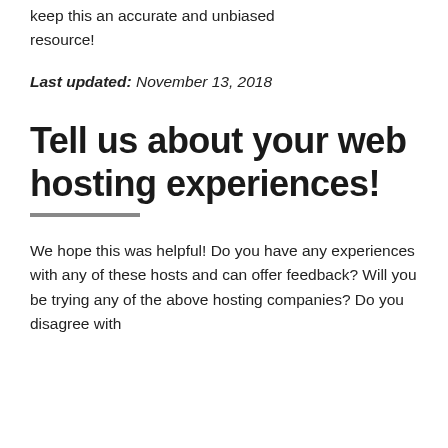keep this an accurate and unbiased resource!
Last updated: November 13, 2018
Tell us about your web hosting experiences!
We hope this was helpful! Do you have any experiences with any of these hosts and can offer feedback? Will you be trying any of the above hosting companies? Do you disagree with